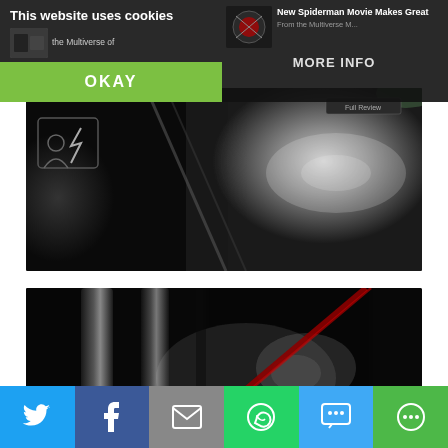[Figure (screenshot): Cookie consent overlay banner on a website. Left side shows 'This website uses cookies' text with a green 'OKAY' button. Right side shows news thumbnails including 'New Spiderman Movie Makes Great...' and a 'MORE INFO' button. Background shows dark website content.]
[Figure (photo): Close-up dark photo of what appears to be car interior leather and trim with illuminated surface highlights.]
[Figure (photo): Dark photo showing tubes or pipes with a diagonal red/dark cable across the frame, with some illuminated mist or smoke visible.]
[Figure (infographic): Social sharing bar at the bottom with icons for Twitter (blue), Facebook (dark blue), Email/Mail (grey), WhatsApp (green), SMS (blue), and More (green).]